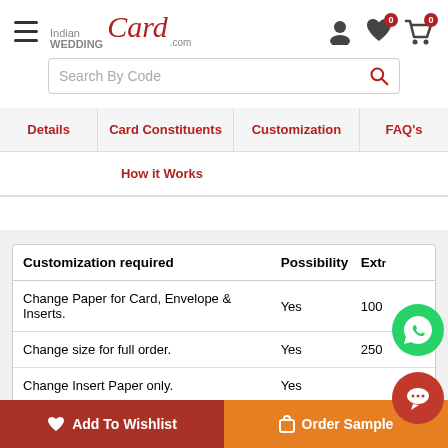[Figure (screenshot): Indian Wedding Card website logo with hamburger menu, user icon, wishlist icon with badge 0, and cart icon with badge 0]
Search By Code
Details | Card Constituents | Customization | FAQ's | How it Works
| Customization required | Possibility | Extr |
| --- | --- | --- |
| Change Paper for Card, Envelope & Inserts. | Yes | 100 |
| Change size for full order. | Yes | 250 |
| Change Insert Paper only. | Yes |  |
| Change Pasted Logo (if already there) | Yes | Fr |
| Change Printed Logo (if already there) | Yes |  |
Add To Wishlist
Order Sample